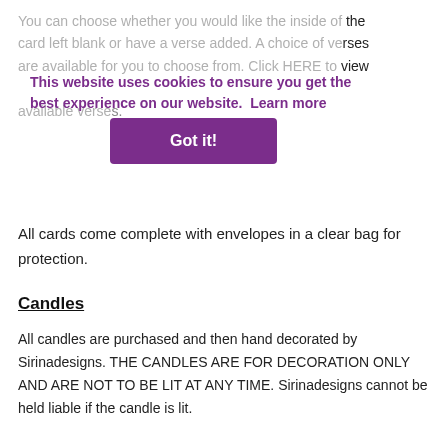You can choose whether you would like the inside of the card left blank or have a verse added. A choice of verses are available for you to choose from. Click HERE to view available verses.
This website uses cookies to ensure you get the best experience on our website.  Learn more
Got it!
All cards come complete with envelopes in a clear bag for protection.
Candles
All candles are purchased and then hand decorated by Sirinadesigns. THE CANDLES ARE FOR DECORATION ONLY AND ARE NOT TO BE LIT AT ANY TIME. Sirinadesigns cannot be held liable if the candle is lit.